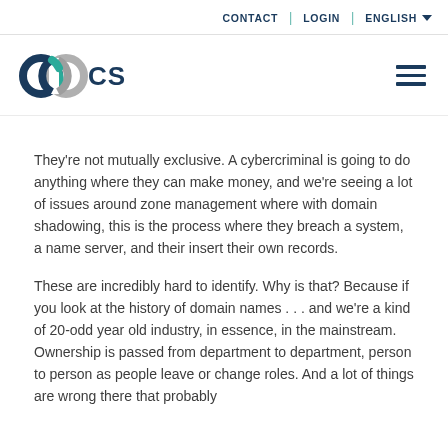CONTACT | LOGIN | ENGLISH
[Figure (logo): CSC logo with infinity-style icon in navy and teal, followed by 'CSC' in navy text]
They're not mutually exclusive. A cybercriminal is going to do anything where they can make money, and we're seeing a lot of issues around zone management where with domain shadowing, this is the process where they breach a system, a name server, and their insert their own records.
These are incredibly hard to identify. Why is that? Because if you look at the history of domain names . . . and we're a kind of 20-odd year old industry, in essence, in the mainstream. Ownership is passed from department to department, person to person as people leave or change roles. And a lot of things are wrong there that probably